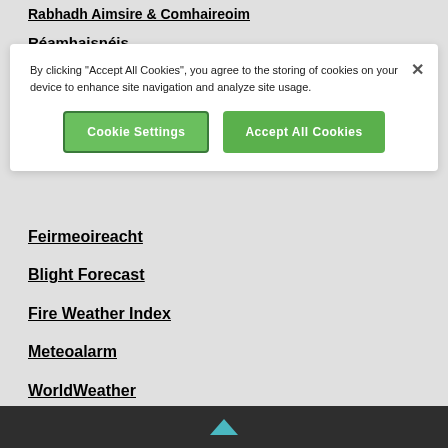Rabhadh Aimsire & Comhaireoim
Réamhaisnéis
By clicking "Accept All Cookies", you agree to the storing of cookies on your device to enhance site navigation and analyze site usage.
Feirmeoireacht
Blight Forecast
Fire Weather Index
Meteoalarm
WorldWeather
▲